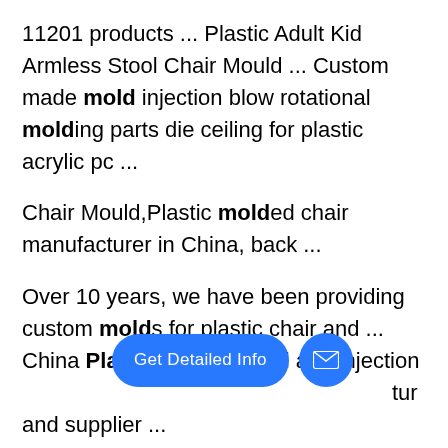11201 products ... Plastic Adult Kid Armless Stool Chair Mould ... Custom made mold injection blow rotational molding parts die ceiling for plastic acrylic pc ...
Chair Mould,Plastic molded chair manufacturer in China, back ...
Over 10 years, we have been providing custom molds for plastic chair and ... China Plastic Chair Mould and injection moulding manufacturer and supplier ...
[Figure (screenshot): UI overlay with blue 'Get Detailed Info' pill button and blue circular mail icon button]
Plastic Chair Mould manufacturers & suppliers - Made-in ...
29836 products ... China Plastic Chair Mould manufacturers - Select 2021 high quality Plastic Chair Mould products in best price from certified Chinese Mould, ...